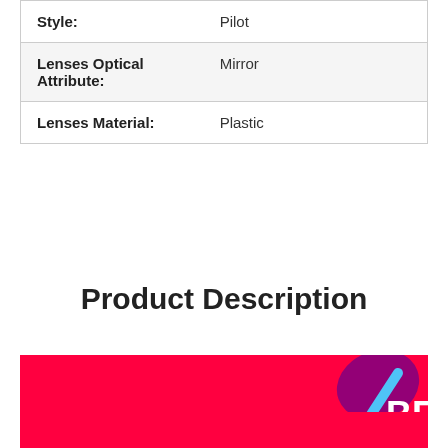| Style: | Pilot |
| Lenses Optical Attribute: | Mirror |
| Lenses Material: | Plastic |
Product Description
[Figure (illustration): Red banner with partial brand logo/graphic — purple oval shape, blue diagonal line, and partial white text 'BE' visible on right side]
[Figure (illustration): Red banner (partially visible at bottom of page)]